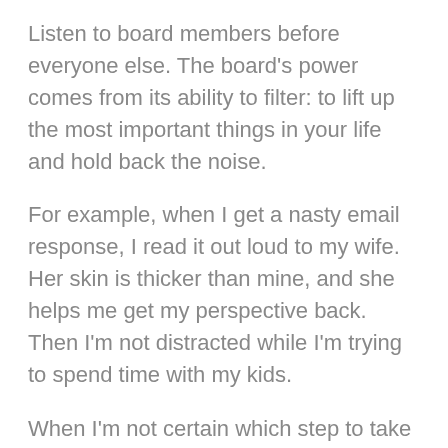Listen to board members before everyone else. The board's power comes from its ability to filter: to lift up the most important things in your life and hold back the noise.
For example, when I get a nasty email response, I read it out loud to my wife. Her skin is thicker than mine, and she helps me get my perspective back. Then I'm not distracted while I'm trying to spend time with my kids.
When I'm not certain which step to take in my business, I call my mentor and present my options. His objectivity helps me choose the path and stay on it until the end.